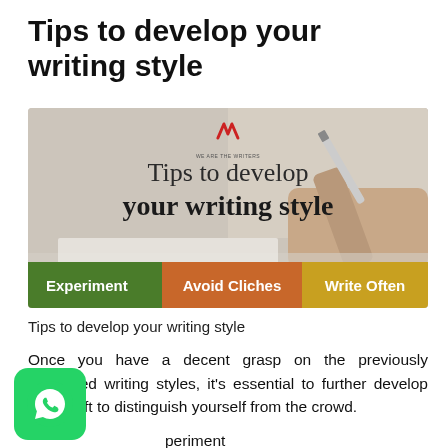Tips to develop your writing style
[Figure (illustration): Article thumbnail image showing a hand writing with a stylus/pen on paper, with the text 'Tips to develop your writing style' and colored banners reading 'Experiment', 'Avoid Cliches', 'Write Often'. Contains a logo 'W' at top center.]
Tips to develop your writing style
Once you have a decent grasp on the previously discussed writing styles, it's essential to further develop your craft to distinguish yourself from the crowd.
Experiment